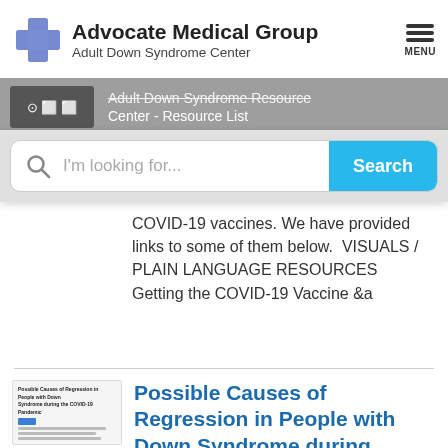[Figure (logo): Advocate Medical Group Adult Down Syndrome Center logo with blue cross]
Advocate Medical Group
Adult Down Syndrome Center
[Figure (other): Hamburger menu icon with MENU label]
[Figure (screenshot): Partially visible page content behind search overlay showing resource list title]
[Figure (screenshot): Search bar with magnifying glass icon, placeholder 'I'm looking for...' and cyan Search button]
COVID-19 vaccines. We have provided links to some of them below.  VISUALS / PLAIN LANGUAGE RESOURCES Getting the COVID-19 Vaccine &a
[Figure (screenshot): Thumbnail of article page showing title and text lines]
Possible Causes of Regression in People with Down Syndrome during